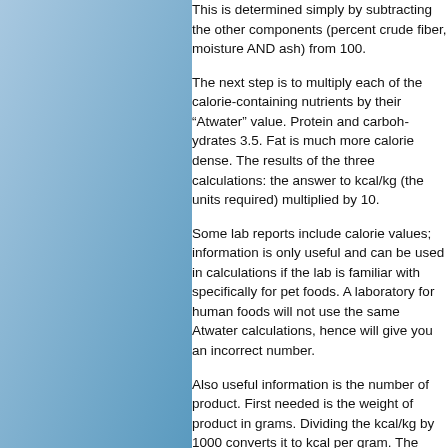[Figure (illustration): Blue gradient decorative left panel]
This is determined simply by subtracting the other components (percent crude fiber, moisture AND ash) from 100.
The next step is to multiply each of the calorie-containing nutrients by their Atwater value. Protein and carbohydrates 3.5. Fat is much more calorie dense. The results of the three calculations the answer to kcal/kg (the units required) multiplied by 10.
Some lab reports include calorie values; information is only useful and can be used in calculations if the lab is familiar with specifically for pet foods. A laboratory for human foods will not use the same Atwater calculations, hence will give you an incorrect number.
Also useful information is the number of product. First needed is the weight of product in grams. Dividing the kcal/kg by 1000 converts it to kcal per gram. The number of grams per treat or cup gr...